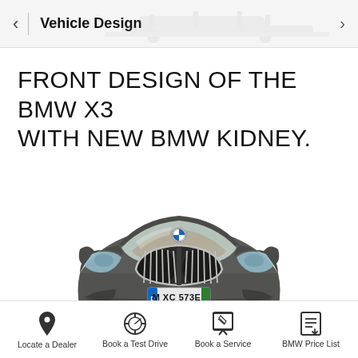Vehicle Design
FRONT DESIGN OF THE BMW X3 WITH NEW BMW KIDNEY.
[Figure (photo): Front view of a BMW X3 SUV in dark grey/graphite color, showing the distinctive large kidney grille with chrome vertical slats, adaptive LED headlights on both sides, and a blue European electric/hybrid license plate reading 'M XC 573E'. The car is shown head-on against a white background.]
Locate a Dealer   Book a Test Drive   Book a Service   BMW Price List